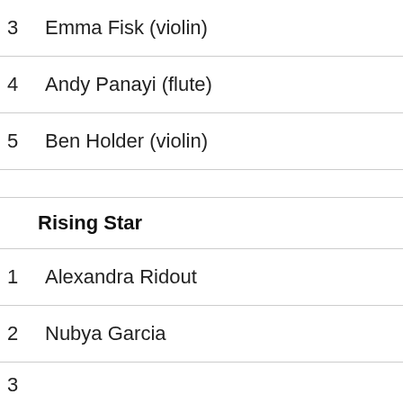3  Emma Fisk (violin)
4  Andy Panayi (flute)
5  Ben Holder (violin)
Rising Star
1  Alexandra Ridout
2  Nubya Garcia
3  ...